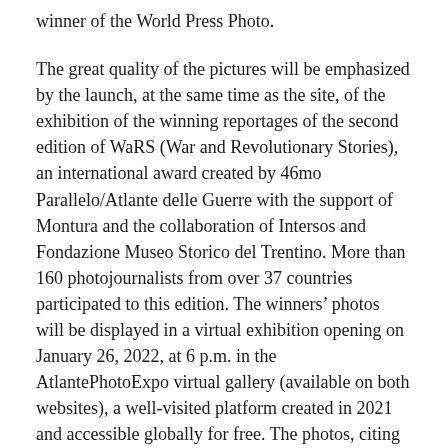winner of the World Press Photo.
The great quality of the pictures will be emphasized by the launch, at the same time as the site, of the exhibition of the winning reportages of the second edition of WaRS (War and Revolutionary Stories), an international award created by 46mo Parallelo/Atlante delle Guerre with the support of Montura and the collaboration of Intersos and Fondazione Museo Storico del Trentino. More than 160 photojournalists from over 37 countries participated to this edition. The winners' photos will be displayed in a virtual exhibition opening on January 26, 2022, at 6 p.m. in the AtlantePhotoExpo virtual gallery (available on both websites), a well-visited platform created in 2021 and accessible globally for free. The photos, citing the source, may be reproduced free of charge.
********************
Interested journalists can request the pdf of the volume at: info@atlanteguerre.it (Italian) or